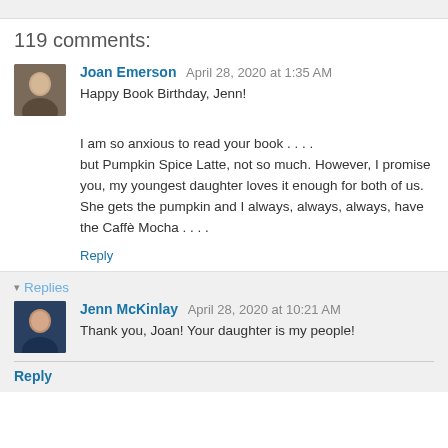119 comments:
Joan Emerson April 28, 2020 at 1:35 AM
Happy Book Birthday, Jenn!

I am so anxious to read your book . . . .
but Pumpkin Spice Latte, not so much. However, I promise you, my youngest daughter loves it enough for both of us. She gets the pumpkin and I always, always, always, have the Caffè Mocha . . . .
Reply
▼ Replies
Jenn McKinlay April 28, 2020 at 10:21 AM
Thank you, Joan! Your daughter is my people!
Reply